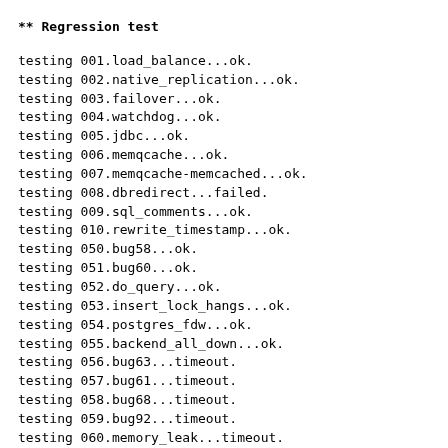** Regression test
testing 001.load_balance...ok.
testing 002.native_replication...ok.
testing 003.failover...ok.
testing 004.watchdog...ok.
testing 005.jdbc...ok.
testing 006.memqcache...ok.
testing 007.memqcache-memcached...ok.
testing 008.dbredirect...failed.
testing 009.sql_comments...ok.
testing 010.rewrite_timestamp...ok.
testing 050.bug58...ok.
testing 051.bug60...ok.
testing 052.do_query...ok.
testing 053.insert_lock_hangs...ok.
testing 054.postgres_fdw...ok.
testing 055.backend_all_down...ok.
testing 056.bug63...timeout.
testing 057.bug61...timeout.
testing 058.bug68...timeout.
testing 059.bug92...timeout.
testing 060.memory_leak...timeout.
testing 061.cancel_query...timeout.
testing 062.select_error_hangs...timeout.
testing 063.tables_with_space...timeout.
testing 064.bug153...timeout.
testing 065.bug152...timeout.
out of 16 ok:15 failed:1 timeout:10